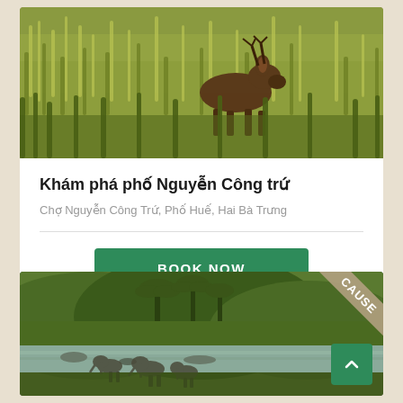[Figure (photo): A deer/buffalo standing in tall golden-green grass field]
Khám phá phố Nguyễn Công trứ
Chợ Nguyễn Công Trứ, Phố Huế, Hai Bà Trưng
BOOK NOW
[Figure (photo): Elephants wading in a river with lush green tropical forest and palm trees in the background, labeled CAUSE in the corner]